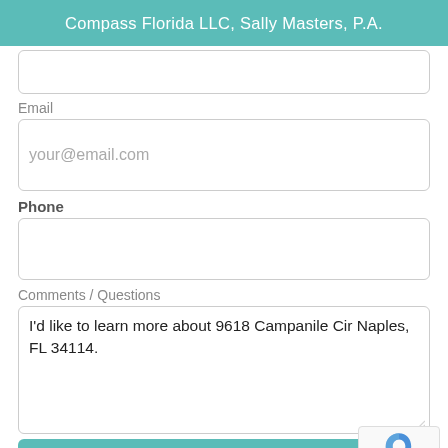Compass Florida LLC, Sally Masters, P.A.
Email
your@email.com
Phone
Comments / Questions
I'd like to learn more about 9618 Campanile Cir Naples, FL 34114.
Send Message